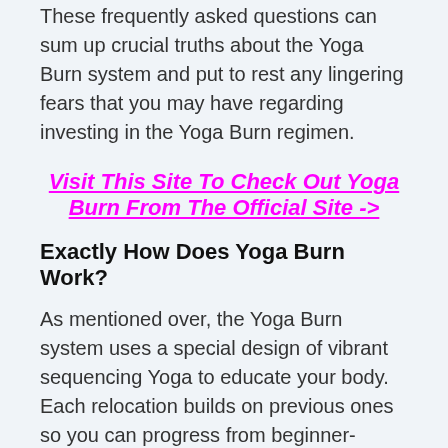These frequently asked questions can sum up crucial truths about the Yoga Burn system and put to rest any lingering fears that you may have regarding investing in the Yoga Burn regimen.
Visit This Site To Check Out Yoga Burn From The Official Site ->
Exactly How Does Yoga Burn Work?
As mentioned over, the Yoga Burn system uses a special design of vibrant sequencing Yoga to educate your body. Each relocation builds on previous ones so you can progress from beginner-oriented movements to more advanced Yoga postures with ease while toning your muscle mass and shedding calories. The program has three